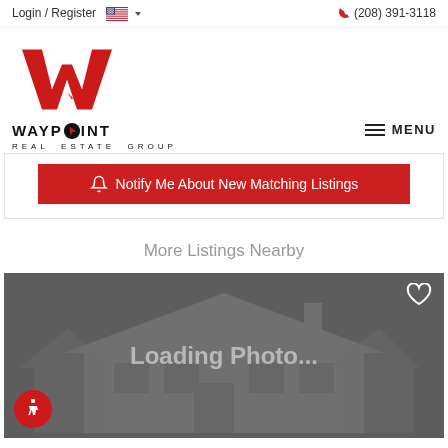Login / Register   (208) 391-3118
[Figure (logo): Waypoint Real Estate Group logo — red W mark above WAYPOINT REAL ESTATE GROUP wordmark in black]
MENU
🔔 Notify Me About New Matching Listings
More Listings Nearby
[Figure (photo): Loading Photo... placeholder card with grey background, house silhouette watermark, heart icon in top right, and accessibility icon in bottom left]